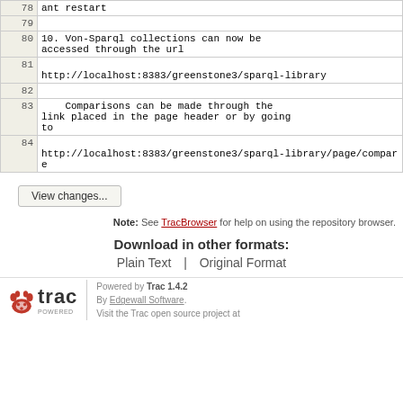| Line | Content |
| --- | --- |
| 78 | ant restart |
| 79 |  |
| 80 | 10. Von-Sparql collections can now be accessed through the url |
| 81 | http://localhost:8383/greenstone3/sparql-library |
| 82 |  |
| 83 |     Comparisons can be made through the link placed in the page header or by going to |
| 84 | http://localhost:8383/greenstone3/sparql-library/page/compare |
View changes...
Note: See TracBrowser for help on using the repository browser.
Download in other formats:
Plain Text | Original Format
Powered by Trac 1.4.2 By Edgewall Software. Visit the Trac open source project at